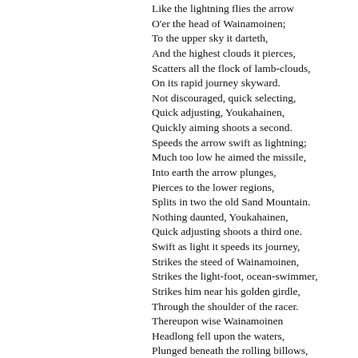Like the lightning flies the arrow
O'er the head of Wainamoinen;
To the upper sky it darteth,
And the highest clouds it pierces,
Scatters all the flock of lamb-clouds,
On its rapid journey skyward.
Not discouraged, quick selecting,
Quick adjusting, Youkahainen,
Quickly aiming shoots a second.
Speeds the arrow swift as lightning;
Much too low he aimed the missile,
Into earth the arrow plunges,
Pierces to the lower regions,
Splits in two the old Sand Mountain.
Nothing daunted, Youkahainen,
Quick adjusting shoots a third one.
Swift as light it speeds its journey,
Strikes the steed of Wainamoinen,
Strikes the light-foot, ocean-swimmer,
Strikes him near his golden girdle,
Through the shoulder of the racer.
Thereupon wise Wainamoinen
Headlong fell upon the waters,
Plunged beneath the rolling billows,
From the saddle of the courser,